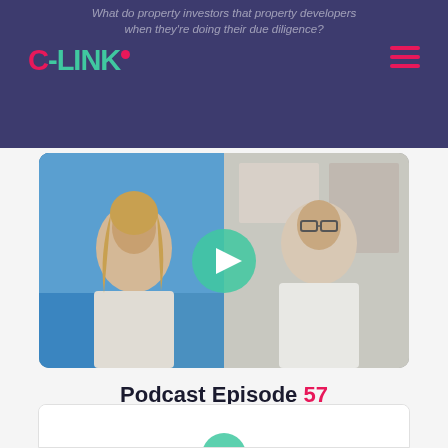What do property investors that property developers when they're doing their due diligence?
[Figure (logo): C-LINK logo with teal and pink lettering and dot, on dark navy background with hamburger menu icon]
[Figure (photo): Video thumbnail showing two people in a split screen with a teal play button overlay. Left: a blonde woman in a white sweater. Right: a bearded man with glasses in a white sweater.]
Podcast Episode 57
Return of the swamp thing
[Figure (other): Bottom card preview partially visible with podcast episode graphic]